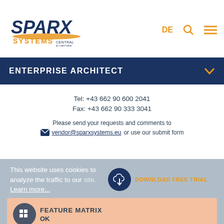[Figure (logo): Sparx Systems Central Europe logo]
DE | search | menu
ENTERPRISE ARCHITECT
Tel: +43 662 90 600 2041
Fax: +43 662 90 333 3041
Please send your requests and comments to
vendor@sparxsystems.eu or use our submit form
This website uses cookies to analyze the traffic to our site. Learn more...
DOWNLOAD FREE TRIAL
FEATURE MATRIX
OK
BUY ENTERPRISE ARCHITECT